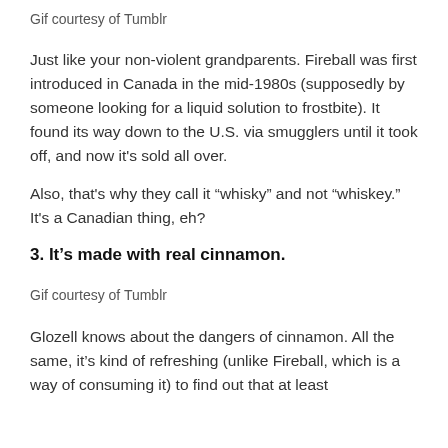Gif courtesy of Tumblr
Just like your non-violent grandparents. Fireball was first introduced in Canada in the mid-1980s (supposedly by someone looking for a liquid solution to frostbite). It found its way down to the U.S. via smugglers until it took off, and now it’s sold all over.
Also, that’s why they call it “whisky” and not “whiskey.” It’s a Canadian thing, eh?
3. It’s made with real cinnamon.
Gif courtesy of Tumblr
Glozell knows about the dangers of cinnamon. All the same, it’s kind of refreshing (unlike Fireball, which is a way of consuming it) to find out that at least